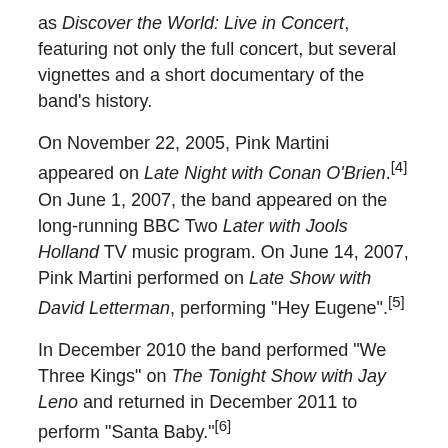as Discover the World: Live in Concert, featuring not only the full concert, but several vignettes and a short documentary of the band's history.
On November 22, 2005, Pink Martini appeared on Late Night with Conan O'Brien.[4] On June 1, 2007, the band appeared on the long-running BBC Two Later with Jools Holland TV music program. On June 14, 2007, Pink Martini performed on Late Show with David Letterman, performing "Hey Eugene".[5]
In December 2010 the band performed "We Three Kings" on The Tonight Show with Jay Leno and returned in December 2011 to perform "Santa Baby."[6]
In February 2011, China Forbes, recorded a video greeting to the European Space Agency's Italian astronaut, Paolo Nespoli, and Russian cosmonaut Aleksandr Kaleri, on board the International Space Station. The astronauts were preparing to oversee the docking of ESA's Automated Transfer Vehicle (ATV...